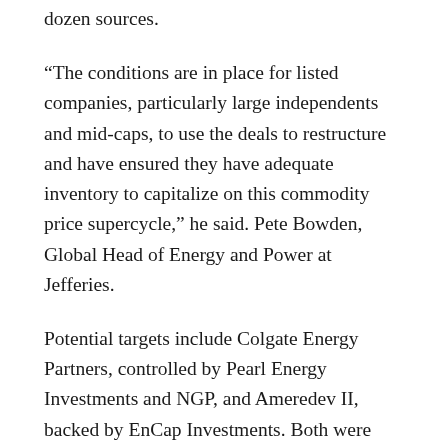dozen sources.
“The conditions are in place for listed companies, particularly large independents and mid-caps, to use the deals to restructure and have ensured they have adequate inventory to capitalize on this commodity price supercycle,” he said. Pete Bowden, Global Head of Energy and Power at Jefferies.
Potential targets include Colgate Energy Partners, controlled by Pearl Energy Investments and NGP, and Ameredev II, backed by EnCap Investments. Both were